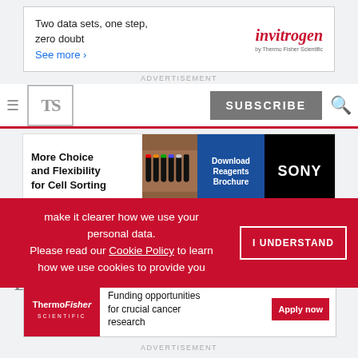[Figure (screenshot): Invitrogen advertisement banner: 'Two data sets, one step, zero doubt. See more >' with Invitrogen by Thermo Fisher Scientific logo]
ADVERTISEMENT
[Figure (screenshot): The Scientist magazine navigation bar with hamburger menu, TS logo, SUBSCRIBE button, and search icon]
[Figure (screenshot): Sony advertisement: 'More Choice and Flexibility for Cell Sorting' with tube image, Download Reagents Brochure button, and SONY logo]
ADVERTISEMENT
Home / Science Rules
Shh! Don't Talk to Your
[Figure (screenshot): GDPR cookie consent banner in red: 'make it clearer how we use your personal data. Please read our Cookie Policy to learn how we use cookies to provide you' with 'I UNDERSTAND' button]
[Figure (screenshot): Thermo Fisher Scientific advertisement: 'Funding opportunities for crucial cancer research' with Apply now button]
ADVERTISEMENT